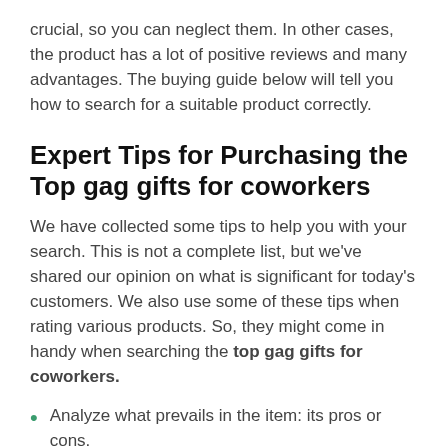crucial, so you can neglect them. In other cases, the product has a lot of positive reviews and many advantages. The buying guide below will tell you how to search for a suitable product correctly.
Expert Tips for Purchasing the Top gag gifts for coworkers
We have collected some tips to help you with your search. This is not a complete list, but we've shared our opinion on what is significant for today's customers. We also use some of these tips when rating various products. So, they might come in handy when searching the top gag gifts for coworkers.
Analyze what prevails in the item: its pros or cons.
Make your feature list and compare it with the products available on the market.